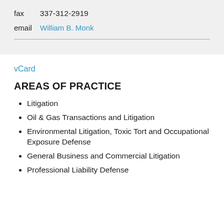fax   337-312-2919
email   William B. Monk
vCard
AREAS OF PRACTICE
Litigation
Oil & Gas Transactions and Litigation
Environmental Litigation, Toxic Tort and Occupational Exposure Defense
General Business and Commercial Litigation
Professional Liability Defense